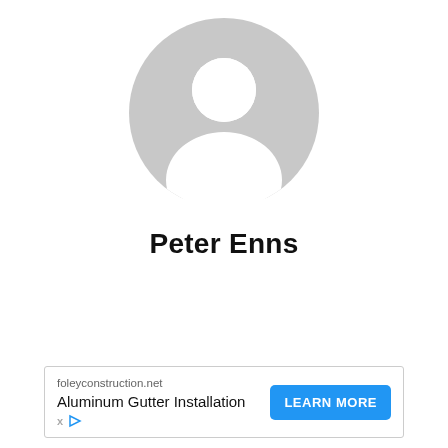[Figure (illustration): Default gray user avatar/profile placeholder icon — circular head and shoulders silhouette on light gray background]
Peter Enns
[Figure (other): Advertisement banner: foleyconstruction.net — Aluminum Gutter Installation — LEARN MORE button]